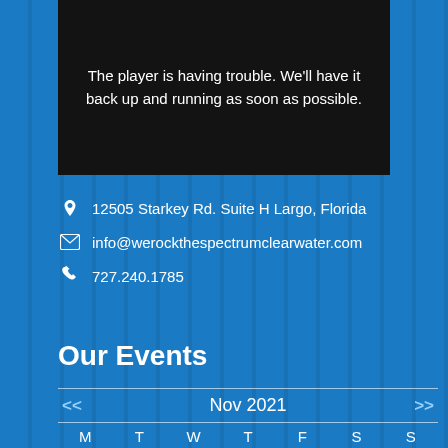[Figure (screenshot): Video player error message showing: 'The player is having trouble. We'll have it back up and running as soon as possible.']
12505 Starkey Rd. Suite H Largo, Florida
info@werockthespectrumclearwater.com
727.240.1785
Our Events
| M | T | W | T | F | S | S |
| --- | --- | --- | --- | --- | --- | --- |
| 1 | 2 | 3 | 4 | 5 | 6 | 7 |
| 8 | 9 | 10 | 11 | 12 | 13 | 14 |
| 15 | 16 | 17 | 18 | 19 | 20 | 21 |